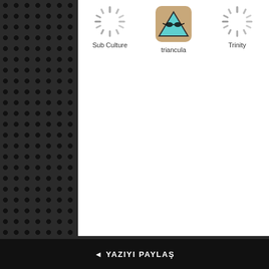[Figure (screenshot): Mobile app UI screenshot showing three items: 'Sub Culture' (loading spinner), 'triancula' (app icon with triangle character wearing sunglasses), and 'Trinity' (loading spinner), displayed in a white content area on a dark textured background]
Sub Culture   triancula   Trinity
◄ YAZIYI PAYLAŞ